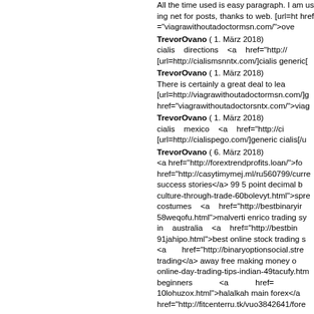All the time used is easy paragraph. I am using net for posts, thanks to web. [url=ht href="viagrawithoutadoctormsn.com/">ove
TrevorOvano ( 1. März 2018) cialis directions <a href="http:// [url=http://cialismsnntx.com/]cialis generic[
TrevorOvano ( 1. März 2018) There is certainly a great deal to le [url=http://viagrawithoutadoctormsn.com/]g href="viagrawithoutadoctorsntx.com/">viag
TrevorOvano ( 1. März 2018) cialis mexico <a href="http://ci [url=http://cialispego.com/]generic cialis[/u
TrevorOvano ( 6. März 2018) <a href="http://forextrendprofits.loan/">fo href="http://casytimymej.ml/ru560799/curre success stories</a> 99 5 point decimal b culture-through-trade-60bolevyt.html">spre costumes <a href="http://bestbinaryir 58weqofu.html">malverti enrico trading sy in australia <a href="http://bestbin 91jahipo.html">best online stock trading s <a href="http://binaryoptionsocial.stre trading</a> away free making money o online-day-trading-tips-indian-49tacufy.htm beginners <a href= 10lohuzox.html">halalkah main forex</a href="http://fitcenterru.tk/vuo3842641/fore